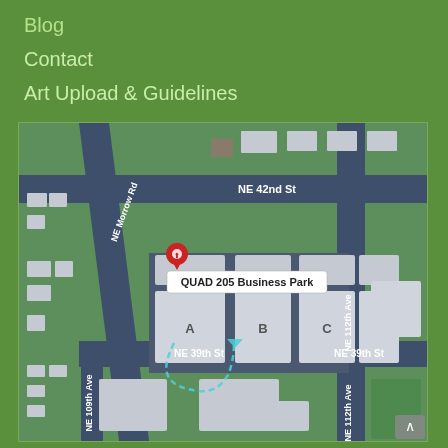Blog
Contact
Art Upload & Guidelines
[Figure (map): Street map showing QUAD 205 Business Park at the intersection of NE Morrow Rd and NE 39th St, with buildings labeled A, B, C, D. Streets shown include NE 42nd St, NE 39th St, NE 109th Ave, NE 112th Ave. A red location pin marks Building A with a dashed route path.]